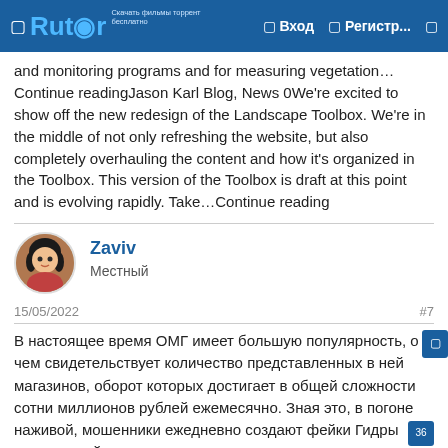Rutor — Вход — Регистр...
and monitoring programs and for measuring vegetation… Continue readingJason Karl Blog, News 0We're excited to show off the new redesign of the Landscape Toolbox. We're in the middle of not only refreshing the website, but also completely overhauling the content and how it's organized in the Toolbox. This version of the Toolbox is draft at this point and is evolving rapidly. Take…Continue reading
Zaviv
Местный
15/05/2022
#7
В настоящее время ОМГ имеет большую популярность, о чем свидетельствует количество представленных в ней магазинов, оборот которых достигает в общей сложности сотни миллионов рублей ежемесячно. Зная это, в погоне за наживой, мошенники ежедневно создают фейки Гидры — некие сайты-клоны, которые не так то просто отличить от